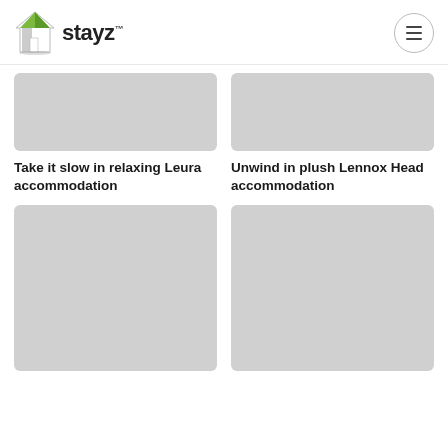stayz™
[Figure (photo): Gray placeholder image for Leura accommodation]
Take it slow in relaxing Leura accommodation
[Figure (photo): Gray placeholder image for Lennox Head accommodation]
Unwind in plush Lennox Head accommodation
[Figure (photo): Gray placeholder image bottom left]
[Figure (photo): Gray placeholder image bottom right]